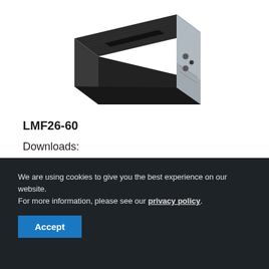[Figure (photo): Product photo of LMF26-60 linear motion component, a black rectangular rail/profile with metallic silver end cap showing mounting hardware, photographed at an angle on white background.]
LMF26-60
Downloads:
DWG
PDF
Suitable for the following Trenwa products (20" nominal
We are using cookies to give you the best experience on our website. For more information, please see our privacy policy.
Accept